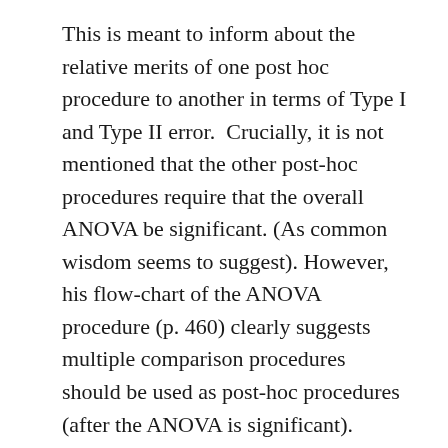This is meant to inform about the relative merits of one post hoc procedure to another in terms of Type I and Type II error.  Crucially, it is not mentioned that the other post-hoc procedures require that the overall ANOVA be significant. (As common wisdom seems to suggest). However,  his flow-chart of the ANOVA procedure (p. 460) clearly suggests multiple comparison procedures should be used as post-hoc procedures (after the ANOVA is significant).